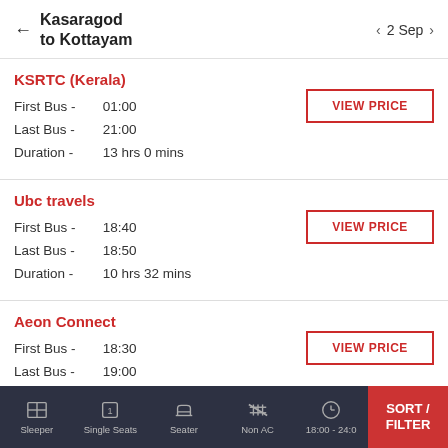Kasaragod to Kottayam — 2 Sep
KSRTC (Kerala)
First Bus - 01:00
Last Bus - 21:00
Duration - 13 hrs 0 mins
Ubc travels
First Bus - 18:40
Last Bus - 18:50
Duration - 10 hrs 32 mins
Aeon Connect
First Bus - 18:30
Last Bus - 19:00
Duration - 9 hrs 47 mins
Sleeper | Single Seats | Seater | Non AC | 18:00 - 24:0 | SORT / FILTER